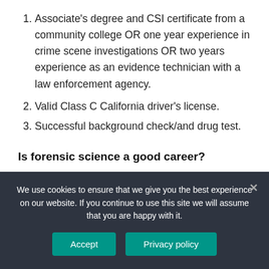Associate's degree and CSI certificate from a community college OR one year experience in crime scene investigations OR two years experience as an evidence technician with a law enforcement agency.
Valid Class C California driver's license.
Successful background check/and drug test.
Is forensic science a good career?
There are endless career opportunities in this field due to the increase in the number of crimes in the world. So, job opportunities in the field of forensic science are also
We use cookies to ensure that we give you the best experience on our website. If you continue to use this site we will assume that you are happy with it.